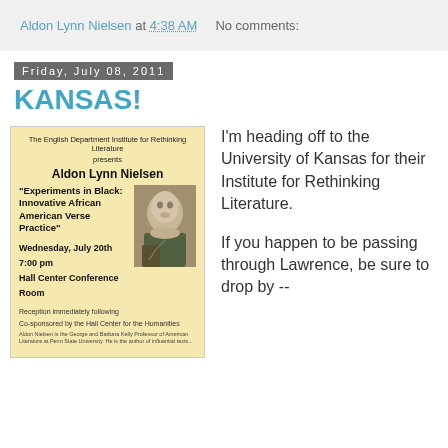Aldon Lynn Nielsen at 4:38 AM    No comments:
Friday, July 08, 2011
KANSAS!
[Figure (photo): Event flyer for The English Department Institute for Rethinking Literature presenting Aldon Lynn Nielsen, 'Experiments in Black: Innovative African American Verse Practice', Wednesday, July 20th, 7:00 pm, Hall Center Conference Room. Reception immediately following. Co-sponsored by the Hall Center for the Humanities. Includes a photo of Aldon Lynn Nielsen.]
I'm heading off to the University of Kansas for their Institute for Rethinking Literature.

If you happen to be passing through Lawrence, be sure to drop by --